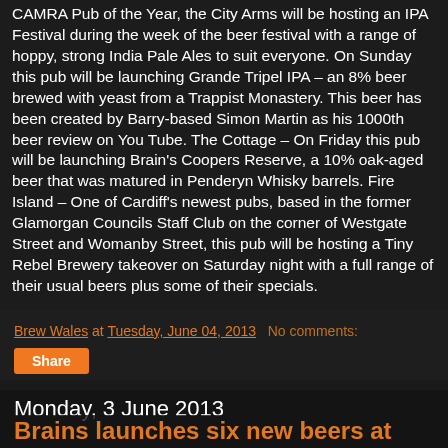CAMRA Pub of the Year, the City Arms will be hosting an IPA Festival during the week of the beer festival with a range of hoppy, strong India Pale Ales to suit everyone. On Sunday this pub will be launching Grande Tripel IPA – an 8% beer brewed with yeast from a Trappist Monastery. This beer has been created by Barry-based Simon Martin as his 1000th beer review on You Tube. The Cottage – On Friday this pub will be launching Brain's Coopers Reserve, a 10% oak-aged beer that was matured in Penderyn Whisky barrels. Fire Island – One of Cardiff's newest pubs, based in the former Glamorgan Councils Staff Club on the corner of Westgate Street and Womanby Street, this pub will be hosting a Tiny Rebel Brewery takeover on Saturday night with a full range of their usual beers plus some of their specials.
Brew Wales at Tuesday, June 04, 2013   No comments:
Share
Monday, 3 June 2013
Brains launches six new beers at Great